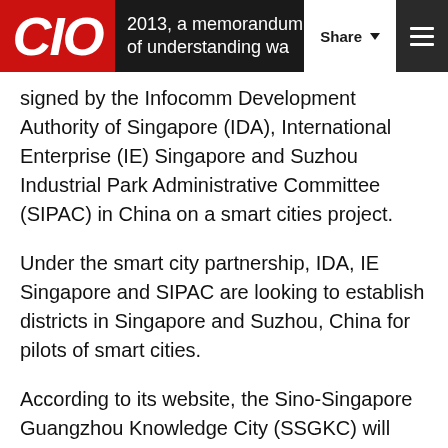CIO | 2013, a memorandum of understanding was signed...
2013, a memorandum of understanding was signed by the Infocomm Development Authority of Singapore (IDA), International Enterprise (IE) Singapore and Suzhou Industrial Park Administrative Committee (SIPAC) in China on a smart cities project.
Under the smart city partnership, IDA, IE Singapore and SIPAC are looking to establish districts in Singapore and Suzhou, China for pilots of smart cities.
According to its website, the Sino-Singapore Guangzhou Knowledge City (SSGKC) will integrate urban management systems, cloud computing, and the Internet of Things (IoT) to develop a world class city where residents can live and work in a “safe, efficient and resource-efficient environment.”
In May 2014, The CRC for Low Carbon Living Vision and